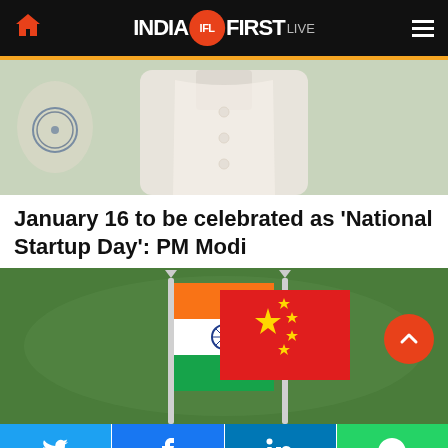INDIA FIRST LIVE
[Figure (photo): Close-up photo of PM Modi wearing a white kurta and vest]
January 16 to be celebrated as ‘National Startup Day’: PM Modi
[Figure (photo): Photo of Indian and Chinese flags crossed on poles against a green background]
Twitter | Facebook | LinkedIn | WhatsApp social share bar